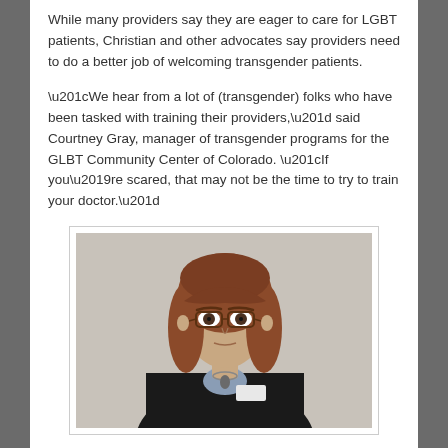While many providers say they are eager to care for LGBT patients, Christian and other advocates say providers need to do a better job of welcoming transgender patients.
“We hear from a lot of (transgender) folks who have been tasked with training their providers,” said Courtney Gray, manager of transgender programs for the GLBT Community Center of Colorado. “If you’re scared, that may not be the time to try to train your doctor.”
[Figure (photo): A person with reddish-brown shoulder-length hair and glasses, wearing a dark blazer and a name tag, photographed against a light gray/beige background. The person appears to be looking slightly upward.]